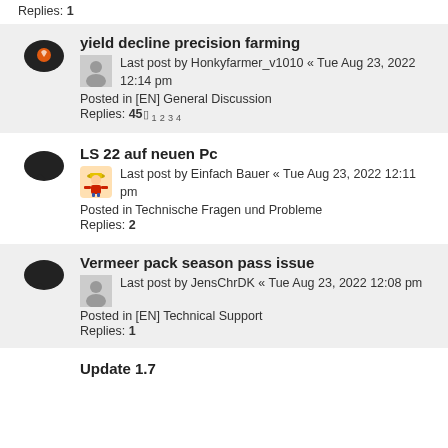Replies: 1
yield decline precision farming
Last post by Honkyfarmer_v1010 « Tue Aug 23, 2022 12:14 pm
Posted in [EN] General Discussion
Replies: 45  1 2 3 4
LS 22 auf neuen Pc
Last post by Einfach Bauer « Tue Aug 23, 2022 12:11 pm
Posted in Technische Fragen und Probleme
Replies: 2
Vermeer pack season pass issue
Last post by JensChrDK « Tue Aug 23, 2022 12:08 pm
Posted in [EN] Technical Support
Replies: 1
Update 1.7